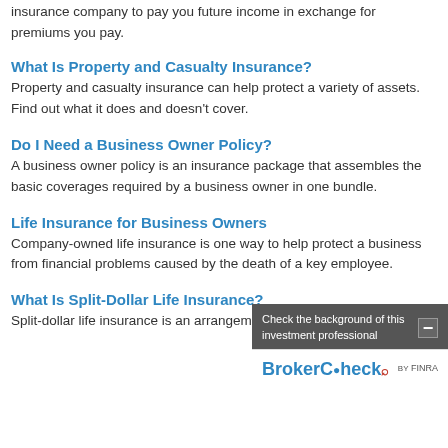insurance company to pay you future income in exchange for premiums you pay.
What Is Property and Casualty Insurance?
Property and casualty insurance can help protect a variety of assets. Find out what it does and doesn't cover.
Do I Need a Business Owner Policy?
A business owner policy is an insurance package that assembles the basic coverages required by a business owner in one bundle.
Life Insurance for Business Owners
Company-owned life insurance is one way to help protect a business from financial problems caused by the death of a key employee.
[Figure (other): BrokerCheck by FINRA overlay widget with text 'Check the background of this investment professional' and a minus/collapse button]
What Is Split-Dollar Life Insurance?
Split-dollar life insurance is an arrangement to